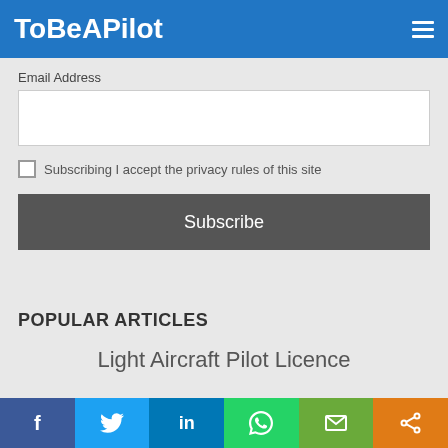ToBeAPilot
Email Address
Subscribing I accept the privacy rules of this site
Subscribe
POPULAR ARTICLES
Light Aircraft Pilot Licence
f  Twitter  in  WhatsApp  Email  Share